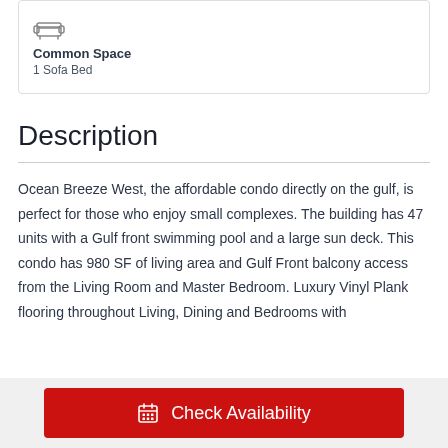[Figure (illustration): Sofa/bed icon in grey]
Common Space
1 Sofa Bed
Description
Ocean Breeze West, the affordable condo directly on the gulf, is perfect for those who enjoy small complexes. The building has 47 units with a Gulf front swimming pool and a large sun deck. This condo has 980 SF of living area and Gulf Front balcony access from the Living Room and Master Bedroom. Luxury Vinyl Plank flooring throughout Living, Dining and Bedrooms with
Check Availability